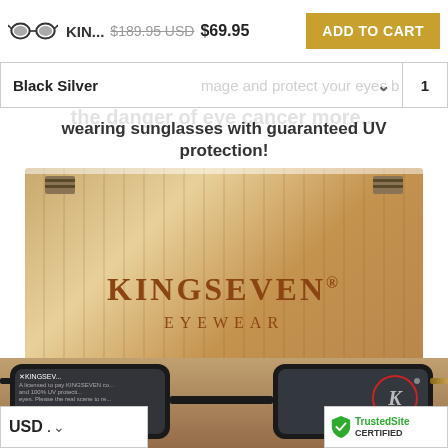permanently damaged. ret... | possiblity... | the danger of eye cancer more...
KIN... $189.95 USD $69.95 ADD TO CART
| Variant | Qty |
| --- | --- |
| Black Silver | 1 |
wearing sunglasses with guaranteed UV protection!
[Figure (photo): Product photo of KINGSEVEN wooden eyewear box with sunglasses. The wooden box is light-colored wood grain with metal hinges, branded with KINGSEVEN® EYEWEAR burned into the wood. Sunglasses with dark frames are visible below the box, showing the KINGSEVEN logo in a red circle on the lens.]
USD ▾
[Figure (logo): TrustedSite badge with green checkmark shield]